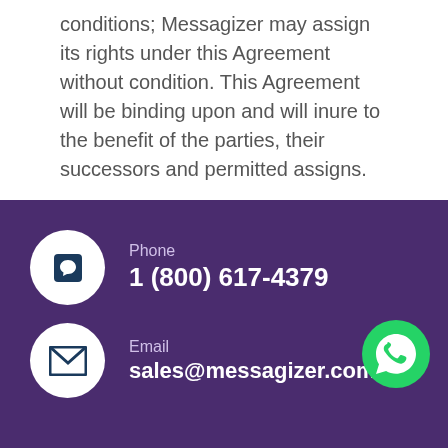conditions; Messagizer may assign its rights under this Agreement without condition. This Agreement will be binding upon and will inure to the benefit of the parties, their successors and permitted assigns.
Phone
1 (800) 617-4379
Email
sales@messagizer.com